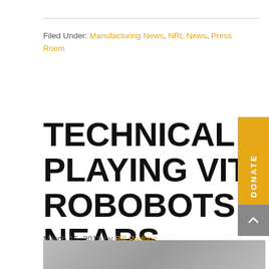Filed Under: Manufacturing News, NRL News, Press Room
TECHNICAL CENTER STUDENTS PLAYING VITAL ROLE AS ROBOBOTS COMPETITION NEARS
March 15, 2019 by Bill Padnos
[Figure (photo): Partial photo visible at bottom of page, appears to be a grayscale image related to the article]